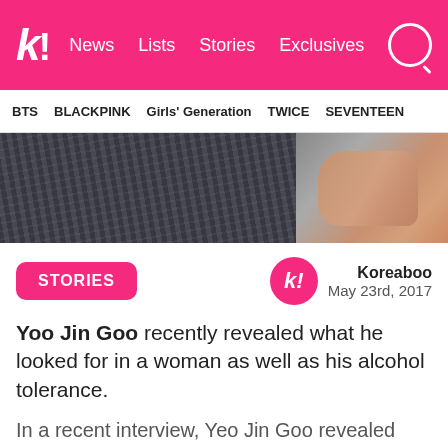k! News Lists Stories Exclusives
BTS BLACKPINK Girls' Generation TWICE SEVENTEEN
[Figure (photo): Close-up photo of a person in a dark pinstripe suit with a hand visible holding something, right side of frame shows skin tones.]
STORIES  Koreaboo  May 23rd, 2017
Yoo Jin Goo recently revealed what he looked for in a woman as well as his alcohol tolerance.
In a recent interview, Yeo Jin Goo revealed what it was like for him to grow up as a child actor and enter college, as well as other personal aspects of his life.